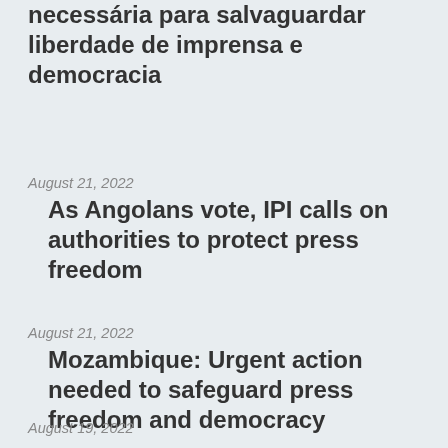necessária para salvaguardar liberdade de imprensa e democracia
August 21, 2022
As Angolans vote, IPI calls on authorities to protect press freedom
August 21, 2022
Mozambique: Urgent action needed to safeguard press freedom and democracy
August 19, 2022